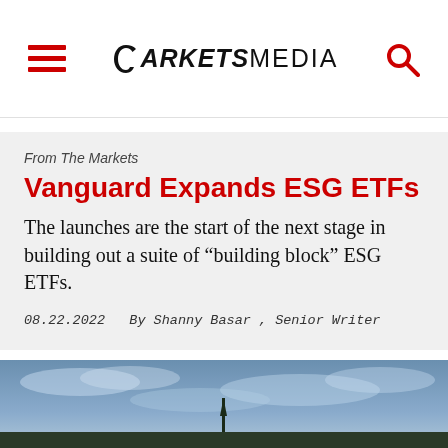MARKETSMEDIA
From The Markets
Vanguard Expands ESG ETFs
The launches are the start of the next stage in building out a suite of “building block” ESG ETFs.
08.22.2022   By Shanny Basar , Senior Writer
[Figure (photo): Outdoor sky/landscape photo at the bottom of the page]